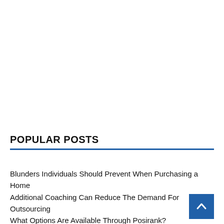POPULAR POSTS
Blunders Individuals Should Prevent When Purchasing a Home
Additional Coaching Can Reduce The Demand For Outsourcing
What Options Are Available Through Posirank?
Ransomware Removal and Data Decryption Services
Be Sure You Are Going To Realize What Your Consumers Are